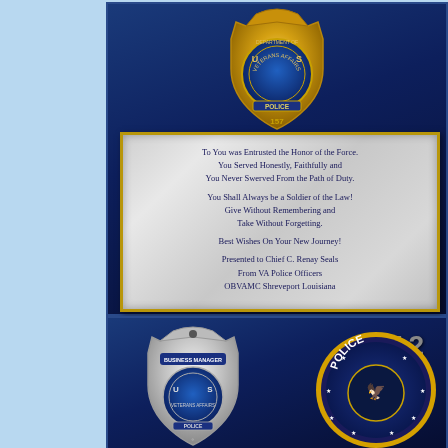[Figure (photo): Top dark blue panel with a gold US Department of Veterans Affairs Police Badge numbered 157 at the top, and a silver/gray engraved plaque below with text presented to Chief C. Renay Seals from VA Police Officers OBVAMC Shreveport Louisiana]
To You was Entrusted the Honor of the Force. You Served Honestly, Faithfully and You Never Swerved From the Path of Duty.

You Shall Always be a Soldier of the Law! Give Without Remembering and Take Without Forgetting.

Best Wishes On Your New Journey!

Presented to Chief C. Renay Seals From VA Police Officers OBVAMC Shreveport Louisiana
[Figure (photo): Bottom dark blue panel showing year 2012 in gray letters, a silver US Department of Veterans Affairs Business Manager Police badge on the left, and a circular VA Police patch with yellow border and stars on the right]